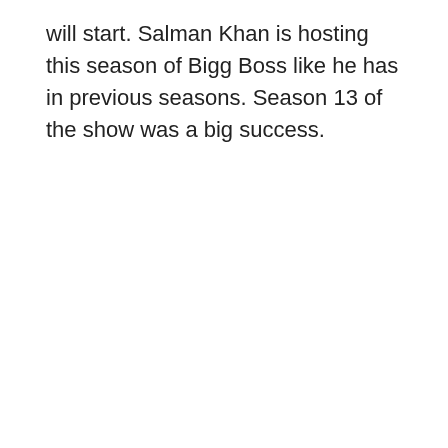will start. Salman Khan is hosting this season of Bigg Boss like he has in previous seasons. Season 13 of the show was a big success.